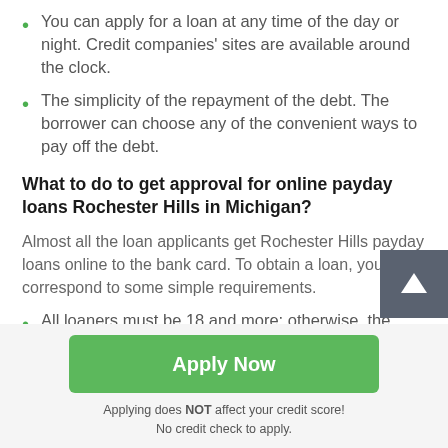You can apply for a loan at any time of the day or night. Credit companies' sites are available around the clock.
The simplicity of the repayment of the debt. The borrower can choose any of the convenient ways to pay off the debt.
What to do to get approval for online payday loans Rochester Hills in Michigan?
Almost all the loan applicants get Rochester Hills payday loans online to the bank card. To obtain a loan, you must correspond to some simple requirements.
All loaners must be 18 and more; otherwise, the loan
Apply Now
Applying does NOT affect your credit score!
No credit check to apply.